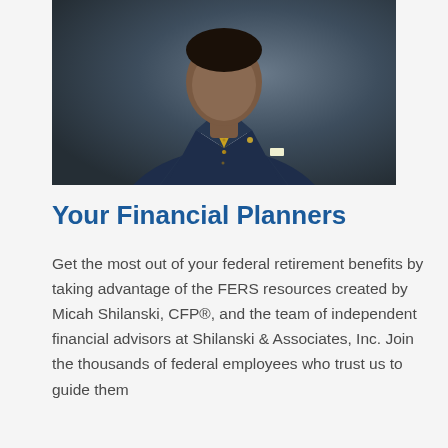[Figure (photo): Professional headshot of a man in a navy blue suit with a gold/yellow patterned tie and white pocket square, photographed against a dark grey background.]
Your Financial Planners
Get the most out of your federal retirement benefits by taking advantage of the FERS resources created by Micah Shilanski, CFP®, and the team of independent financial advisors at Shilanski & Associates, Inc. Join the thousands of federal employees who trust us to guide them